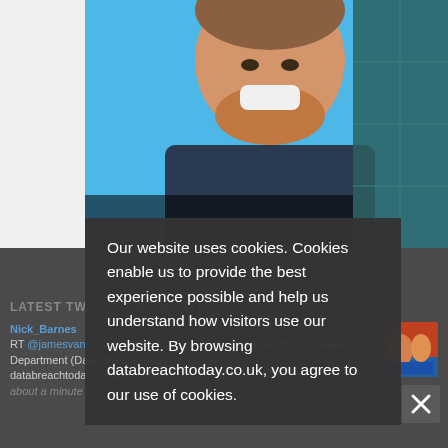[Figure (photo): Man smiling with blue background and teal grid overlay on right side, screenshot of a website]
LATEST TWEETS AND MENTIONS
Nick_Barnes
RT @jamesvangenken: Illicit #Crypto Activity Detected By US Treasury Department (Data Breach Today) #Cryptocu… databreachtoday.co.uk/t.co…
about a minute ago · Retweet
[Figure (photo): Small thumbnail image with colorful illustration]
Our website uses cookies. Cookies enable us to provide the best experience possible and help us understand how visitors use our website. By browsing databreachtoday.co.uk, you agree to our use of cookies.